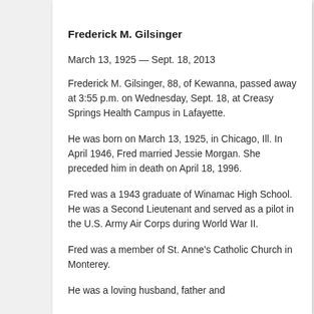Frederick M. Gilsinger
March 13, 1925 — Sept. 18, 2013
Frederick M. Gilsinger, 88, of Kewanna, passed away at 3:55 p.m. on Wednesday, Sept. 18, at Creasy Springs Health Campus in Lafayette.
He was born on March 13, 1925, in Chicago, Ill. In April 1946, Fred married Jessie Morgan. She preceded him in death on April 18, 1996.
Fred was a 1943 graduate of Winamac High School. He was a Second Lieutenant and served as a pilot in the U.S. Army Air Corps during World War II.
Fred was a member of St. Anne's Catholic Church in Monterey.
He was a loving husband, father and